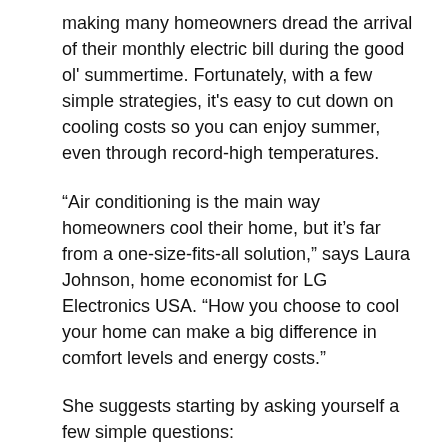making many homeowners dread the arrival of their monthly electric bill during the good ol' summertime. Fortunately, with a few simple strategies, it's easy to cut down on cooling costs so you can enjoy summer, even through record-high temperatures.
“Air conditioning is the main way homeowners cool their home, but it’s far from a one-size-fits-all solution,” says Laura Johnson, home economist for LG Electronics USA. “How you choose to cool your home can make a big difference in comfort levels and energy costs.”
She suggests starting by asking yourself a few simple questions:
* How hot is it likely to get in the region where you live?
* What is the square footage you want cooled?
* Do you have one room that just doesn’t cool effectively